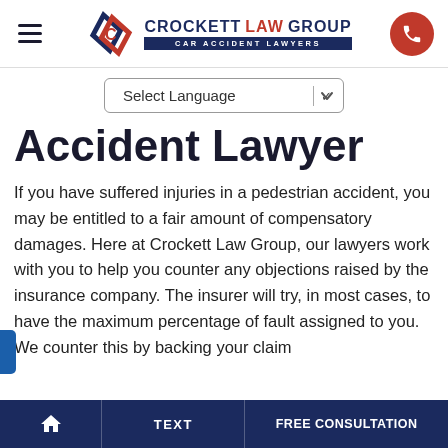[Figure (logo): Crockett Law Group Car Accident Lawyers logo with diamond shield icon in navy and red]
Select Language
Accident Lawyer
If you have suffered injuries in a pedestrian accident, you may be entitled to a fair amount of compensatory damages. Here at Crockett Law Group, our lawyers work with you to help you counter any objections raised by the insurance company. The insurer will try, in most cases, to have the maximum percentage of fault assigned to you. We counter this by backing your claim with...
HOME   TEXT   FREE CONSULTATION